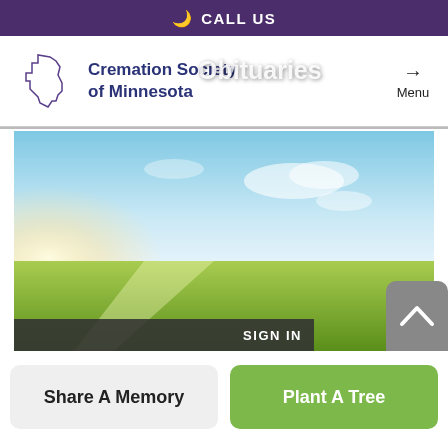CALL US
[Figure (logo): Cremation Society of Minnesota logo with Minnesota state outline]
Obituaries
Menu
[Figure (photo): Photo of a green field with blue sky and sunlight]
SIGN IN
Share A Memory
Plant A Tree